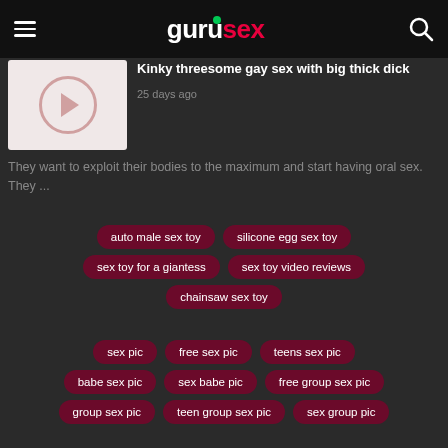gurusex
[Figure (screenshot): Video thumbnail with play button circle]
Kinky threesome gay sex with big thick dick
25 days ago
They want to exploit their bodies to the maximum and start having oral sex. They ...
auto male sex toy
silicone egg sex toy
sex toy for a giantess
sex toy video reviews
chainsaw sex toy
sex pic
free sex pic
teens sex pic
babe sex pic
sex babe pic
free group sex pic
group sex pic
teen group sex pic
sex group pic